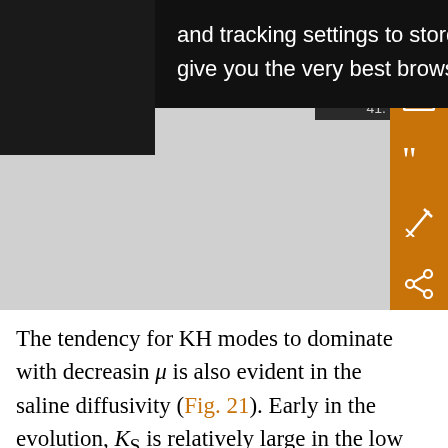[Figure (screenshot): Browser cookie tooltip overlay on a dark scientific webpage, with an orange sidebar containing icons (save, email, quote, annotate, share).]
and tracking settings to store information that help give you the very best browsing experience.
The tendency for KH modes to dominate with decreasing μ is also evident in the saline diffusivity (Fig. 21). Early in the evolution, K_S is relatively large in the low μ case because of the large KH instability (dashed–dotted curve, 1000 s < t < 2000 s). Later, however, there is no sign of the increased diffusivity because of the propagating mode, as is evident in case C and even more so in case